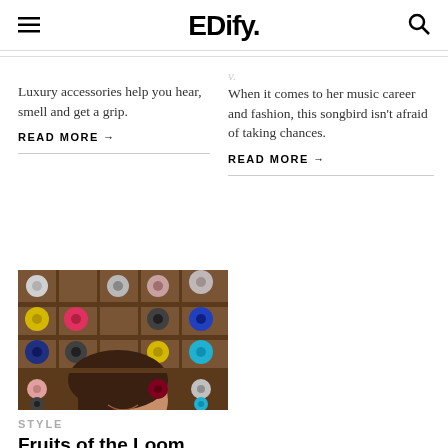EDify.
Luxury accessories help you hear, smell and get a grip.
READ MORE →
When it comes to her music career and fashion, this songbird isn't afraid of taking chances.
READ MORE →
[Figure (photo): A woman smiling in front of a wooden shelving unit filled with colorful yarn spools]
STYLE
Fruits of the Loom